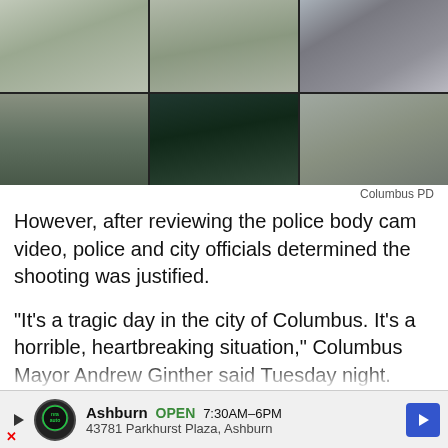[Figure (screenshot): Security/body cam video footage showing outdoor scene with sidewalk and grass, split into 6 panels in a 3x2 grid]
Columbus PD
However, after reviewing the police body cam video, police and city officials determined the shooting was justified.
"It's a tragic day in the city of Columbus. It's a horrible, heartbreaking situation," Columbus Mayor Andrew Ginther said Tuesday night. "The city of Columbus lost a [16-year-old] girl today. We know based on this
[Figure (other): Advertisement: Ashburn OPEN 7:30AM-6PM, 43781 Parkhurst Plaza, Ashburn with logo and navigation arrow]